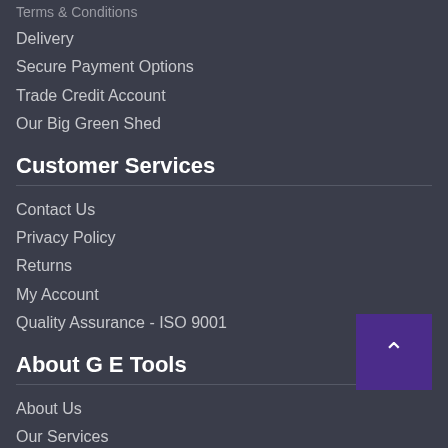Terms & Conditions
Delivery
Secure Payment Options
Trade Credit Account
Our Big Green Shed
Customer Services
Contact Us
Privacy Policy
Returns
My Account
Quality Assurance - ISO 9001
About G E Tools
About Us
Our Services
Environmental Responsibility
Social Responsibility
Corporate Policies